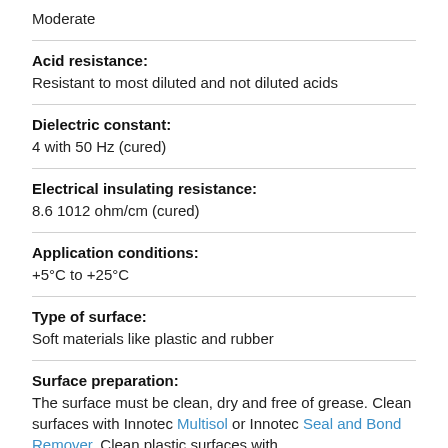Moderate
Acid resistance:
Resistant to most diluted and not diluted acids
Dielectric constant:
4 with 50 Hz (cured)
Electrical insulating resistance:
8.6 1012 ohm/cm (cured)
Application conditions:
+5°C to +25°C
Type of surface:
Soft materials like plastic and rubber
Surface preparation:
The surface must be clean, dry and free of grease. Clean surfaces with Innotec Multisol or Innotec Seal and Bond Remover. Clean plastic surfaces with